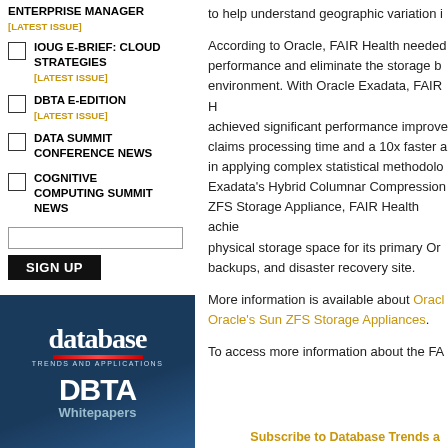ENTERPRISE MANAGER [LATEST ISSUE]
IOUG E-BRIEF: CLOUD STRATEGIES [LATEST ISSUE]
DBTA E-EDITION [LATEST ISSUE]
DATA SUMMIT CONFERENCE NEWS
COGNITIVE COMPUTING SUMMIT NEWS
to help understand geographic variation i...
According to Oracle, FAIR Health needed performance and eliminate the storage b... environment. With Oracle Exadata, FAIR H... achieved significant performance improve... claims processing time and a 10x faster a... in applying complex statistical methodolo... Exadata's Hybrid Columnar Compression... ZFS Storage Appliance, FAIR Health achie... physical storage space for its primary Or... backups, and disaster recovery site.
More information is available about Oracle... Oracle's Sun ZFS Storage Appliances.
To access more information about the FA...
[Figure (illustration): Database Trends and Applications DBTA Whitepapers promotional image with dark blue background]
Subscribe to Database Trends a...